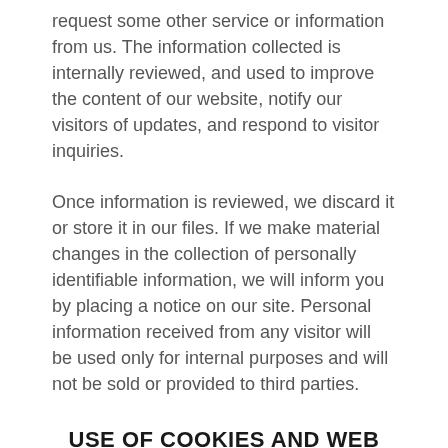request some other service or information from us. The information collected is internally reviewed, and used to improve the content of our website, notify our visitors of updates, and respond to visitor inquiries.
Once information is reviewed, we discard it or store it in our files. If we make material changes in the collection of personally identifiable information, we will inform you by placing a notice on our site. Personal information received from any visitor will be used only for internal purposes and will not be sold or provided to third parties.
USE OF COOKIES AND WEB BEACONS